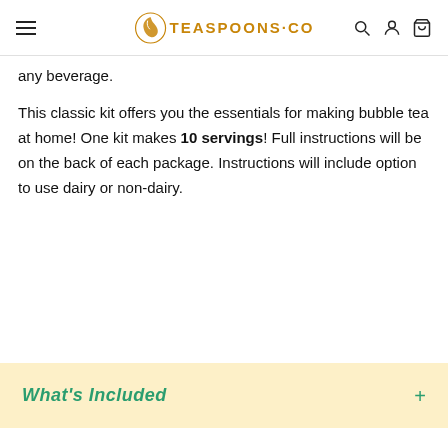TEASPOONS·CO
any beverage.
This classic kit offers you the essentials for making bubble tea at home! One kit makes 10 servings! Full instructions will be on the back of each package. Instructions will include option to use dairy or non-dairy.
What's Included